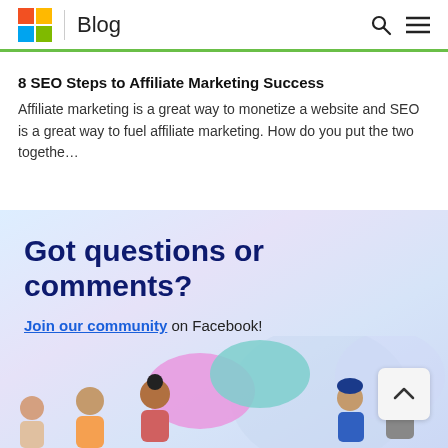Blog
8 SEO Steps to Affiliate Marketing Success
Affiliate marketing is a great way to monetize a website and SEO is a great way to fuel affiliate marketing. How do you put the two togethe…
Got questions or comments?
Join our community on Facebook!
[Figure (illustration): 3D illustration of people talking with speech bubbles, representing a community discussion.]